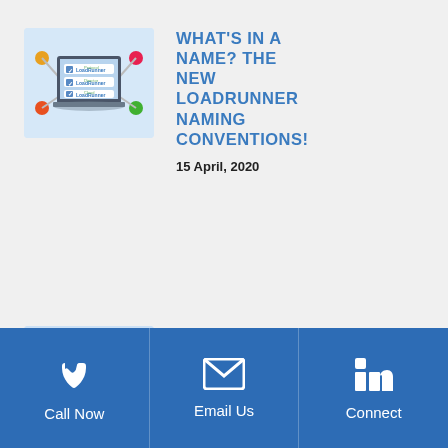[Figure (illustration): Laptop with LoadRunner product checklist illustration on light blue background with colored network nodes around it]
WHAT'S IN A NAME? THE NEW LOADRUNNER NAMING CONVENTIONS!
15 April, 2020
[Figure (screenshot): Partial screenshot showing UFT One product interface with green circular badge]
THE LATEST AND GREATEST
Call Now | Email Us | Connect